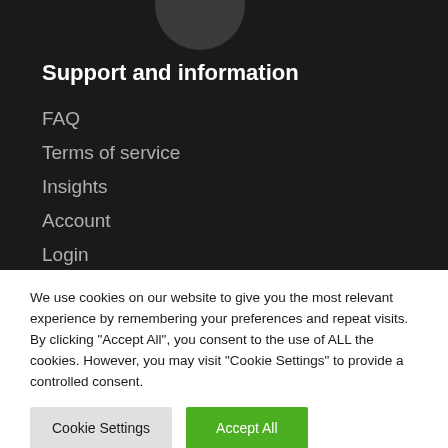[Figure (other): Partial dark circle at top of dark navigation panel]
Support and information
FAQ
Terms of service
Insights
Account
Login
We use cookies on our website to give you the most relevant experience by remembering your preferences and repeat visits. By clicking “Accept All”, you consent to the use of ALL the cookies. However, you may visit “Cookie Settings” to provide a controlled consent.
Cookie Settings | Accept All